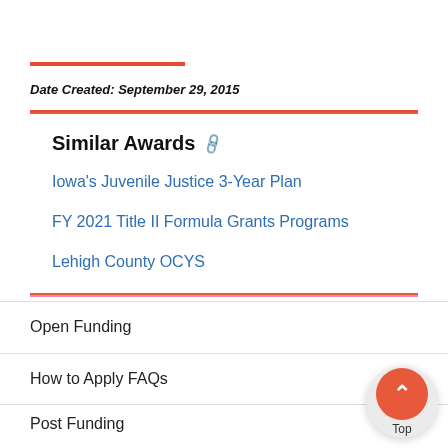Date Created: September 29, 2015
Similar Awards
Iowa's Juvenile Justice 3-Year Plan
FY 2021 Title II Formula Grants Programs
Lehigh County OCYS
Open Funding
How to Apply FAQs
Post Funding